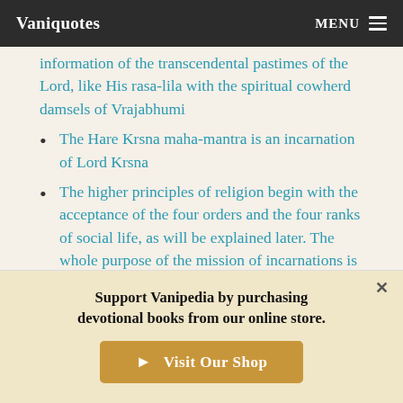Vaniquotes   MENU
information of the transcendental pastimes of the Lord, like His rasa-lila with the spiritual cowherd damsels of Vrajabhumi
The Hare Krsna maha-mantra is an incarnation of Lord Krsna
The higher principles of religion begin with the acceptance of the four orders and the four ranks of social life, as will be explained later. The whole purpose of the mission of incarnations is to arouse Krsna consciousness everywhere
The highest blunder committed by the impersonalists is to
Support Vanipedia by purchasing devotional books from our online store.
Visit Our Shop